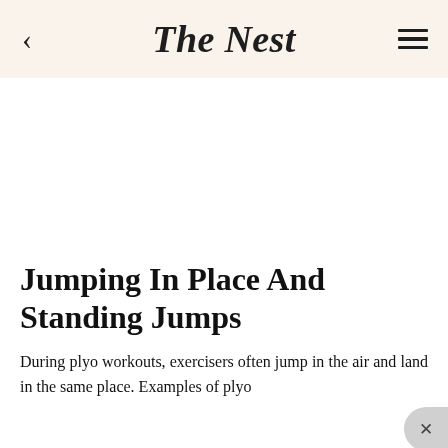The Nest
[Figure (other): Large white/blank image area placeholder below the header]
Jumping In Place And Standing Jumps
During plyo workouts, exercisers often jump in the air and land in the same place. Examples of plyo